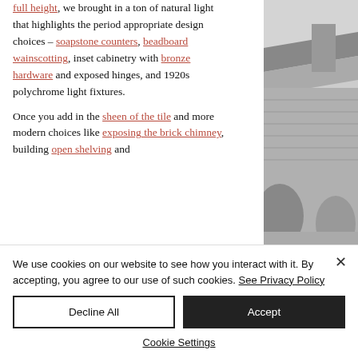full height, we brought in a ton of natural light that highlights the period appropriate design choices – soapstone counters, beadboard wainscotting, inset cabinetry with bronze hardware and exposed hinges, and 1920s polychrome light fixtures.

Once you add in the sheen of the tile and more modern choices like exposing the brick chimney, building open shelving and
[Figure (photo): Black and white photo of a house exterior showing eaves, brick chimney, and landscaping.]
We use cookies on our website to see how you interact with it. By accepting, you agree to our use of such cookies. See Privacy Policy
Decline All
Accept
Cookie Settings